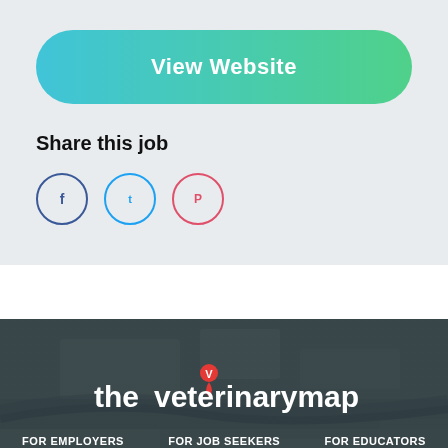[Figure (other): View Website button with gradient from teal/cyan to green, pill-shaped]
Share this job
[Figure (other): Three social media share icon circles: Facebook (dark blue), Twitter (light blue), Pinterest (red/pink)]
[Figure (logo): The Veterinary Map logo: white text with red map pin marker above the letter V]
FOR EMPLOYERS   FOR JOB SEEKERS   FOR EDUCATORS